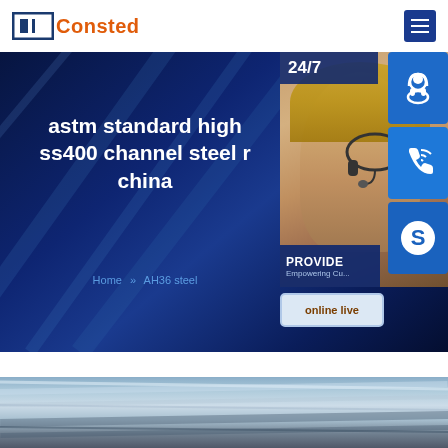Consted
[Figure (photo): Hero banner with dark blue gradient background and diagonal lines overlay]
astm standard high ss400 channel steel r china
Home >> AH36 steel
[Figure (photo): Customer service representative with headset, overlay with 24/7 label, PROVIDE Empowering Customers text, support icons (headset, phone, Skype), online live button]
[Figure (photo): Close-up photo of channel steel at the bottom of the page]